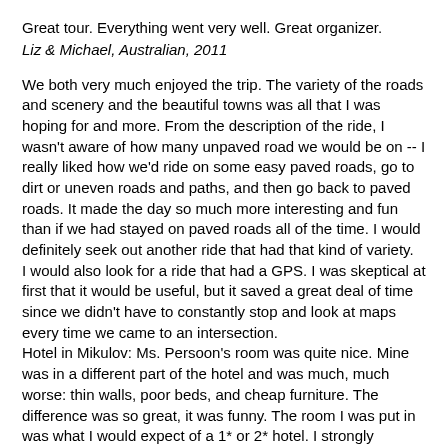Great tour. Everything went very well. Great organizer.
Liz & Michael, Australian, 2011
We both very much enjoyed the trip. The variety of the roads and scenery and the beautiful towns was all that I was hoping for and more. From the description of the ride, I wasn't aware of how many unpaved road we would be on -- I really liked how we'd ride on some easy paved roads, go to dirt or uneven roads and paths, and then go back to paved roads. It made the day so much more interesting and fun than if we had stayed on paved roads all of the time. I would definitely seek out another ride that had that kind of variety.
I would also look for a ride that had a GPS. I was skeptical at first that it would be useful, but it saved a great deal of time since we didn't have to constantly stop and look at maps every time we came to an intersection.
Hotel in Mikulov: Ms. Persoon's room was quite nice. Mine was in a different part of the hotel and was much, much worse: thin walls, poor beds, and cheap furniture. The difference was so great, it was funny. The room I was put in was what I would expect of a 1* or 2* hotel. I strongly suggest you contact the hotel and make sure they don't put your clients in those rooms in the future.
I don't want to end this note negatively because I really enjoyed